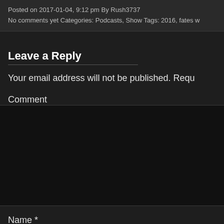Posted on 2017-01-04, 9:12 pm By Rush3737
No comments yet Categories: Podcasts, Show Tags: 2016, fates w
Leave a Reply
Your email address will not be published. Requ
Comment
Name *